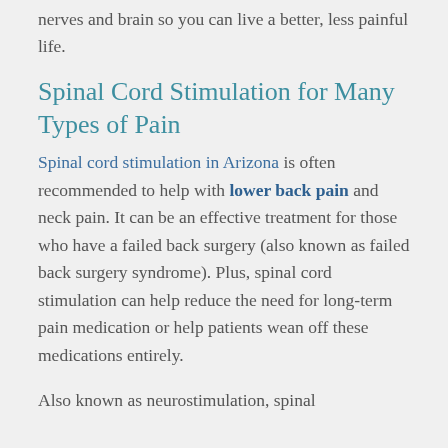nerves and brain so you can live a better, less painful life.
Spinal Cord Stimulation for Many Types of Pain
Spinal cord stimulation in Arizona is often recommended to help with lower back pain and neck pain. It can be an effective treatment for those who have a failed back surgery (also known as failed back surgery syndrome). Plus, spinal cord stimulation can help reduce the need for long-term pain medication or help patients wean off these medications entirely.
Also known as neurostimulation, spinal